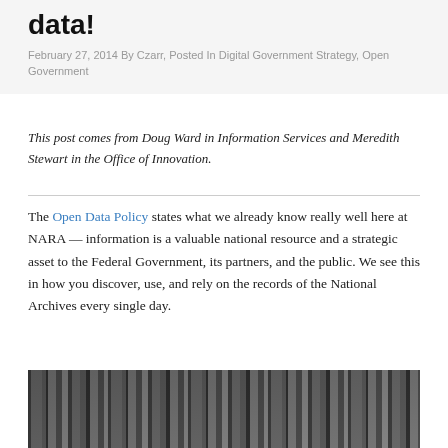data!
February 27, 2014 By Czarr, Posted In Digital Government Strategy, Open Government
This post comes from Doug Ward in Information Services and Meredith Stewart in the Office of Innovation.
The Open Data Policy states what we already know really well here at NARA — information is a valuable national resource and a strategic asset to the Federal Government, its partners, and the public. We see this in how you discover, use, and rely on the records of the National Archives every single day.
[Figure (photo): Black and white photograph of bookshelves or archival stacks with books/folders visible]